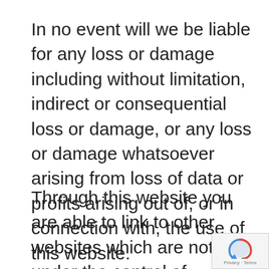In no event will we be liable for any loss or damage including without limitation, indirect or consequential loss or damage, or any loss or damage whatsoever arising from loss of data or profits arising out of, or in connection with, the use of this website.
Through this website you are able to link to other websites which are not under the control of Copier